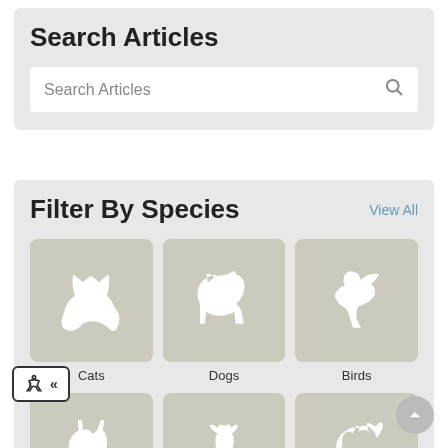Search Articles
[Figure (screenshot): Search input field with placeholder text 'Search Articles' and a magnifying glass icon on the right]
Filter By Species
View All
[Figure (infographic): Species filter grid with 6 icons: Cats, Dogs, Birds, Small Mammals, Reptiles, Horses. Each icon is a white silhouette on a beige/tan rounded square background.]